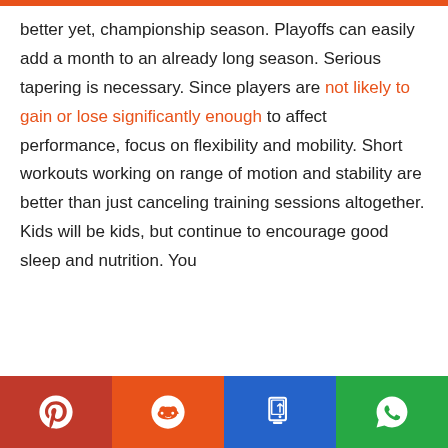better yet, championship season. Playoffs can easily add a month to an already long season. Serious tapering is necessary. Since players are not likely to gain or lose significantly enough to affect performance, focus on flexibility and mobility. Short workouts working on range of motion and stability are better than just canceling training sessions altogether.
Kids will be kids, but continue to encourage good sleep and nutrition. You